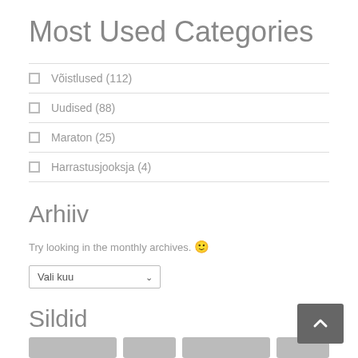Most Used Categories
Võistlused (112)
Uudised (88)
Maraton (25)
Harrastusjooksja (4)
Arhiiv
Try looking in the monthly archives. 🙂
Sildid